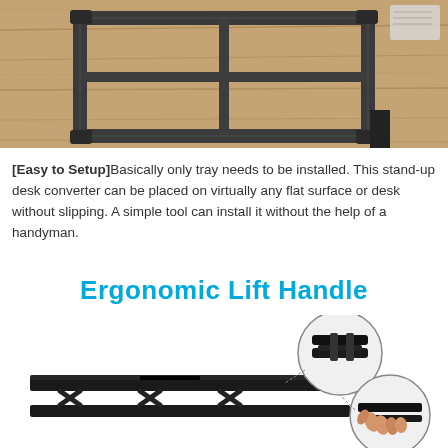[Figure (photo): A metal frame/base of a standing desk converter placed flat on a wooden desk surface, viewed from above. The frame is dark gray/black steel with cross-bracing bars.]
[Easy to Setup] Basically only tray needs to be installed. This stand-up desk converter can be placed on virtually any flat surface or desk without slipping. A simple tool can install it without the help of a handyman.
Ergonomic Lift Handle
[Figure (photo): A black standing desk converter shown in the lowered/sitting position with two circular inset close-up photos showing the ergonomic lift handle mechanism — one showing the handle from above and one showing a hand gripping the handle from below.]